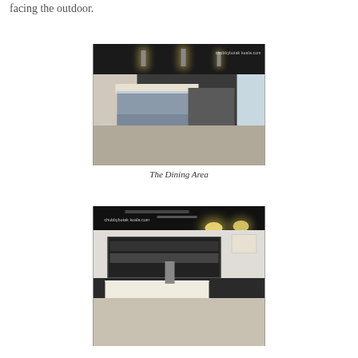facing the outdoor.
[Figure (photo): Interior photo of a restaurant dining area with a wooden buffet counter in the center, pendant lights hanging from a dark industrial ceiling, and a row of tables with chairs along the right side. Watermark reads chubbybotak koala.com.]
The Dining Area
[Figure (photo): Interior photo of a bar or food counter area with a large illuminated shelf display case filled with bottles and products, pendant lights, a staff member behind the counter, and artwork on the right wall. Watermark reads chubbybotak koala.com.]